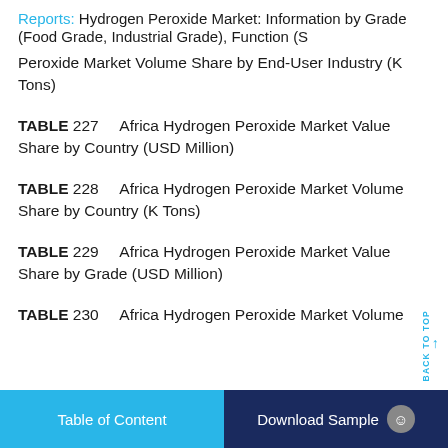Reports: Hydrogen Peroxide Market: Information by Grade (Food Grade, Industrial Grade), Function (S
Peroxide Market Volume Share by End-User Industry (K Tons)
TABLE 227    Africa Hydrogen Peroxide Market Value Share by Country (USD Million)
TABLE 228    Africa Hydrogen Peroxide Market Volume Share by Country (K Tons)
TABLE 229    Africa Hydrogen Peroxide Market Value Share by Grade (USD Million)
TABLE 230    Africa Hydrogen Peroxide Market Volume
Table of Content    Download Sample